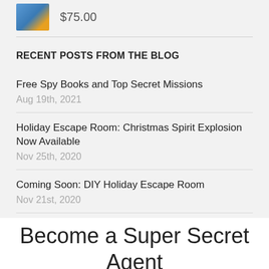[Figure (photo): Small thumbnail image with blue and orange tones, partially visible at top left]
$75.00
RECENT POSTS FROM THE BLOG
Free Spy Books and Top Secret Missions
Aug 19th, 2021
Holiday Escape Room: Christmas Spirit Explosion Now Available
Nov 25th, 2020
Coming Soon: DIY Holiday Escape Room
Nov 21st, 2020
Become a Super Secret Agent